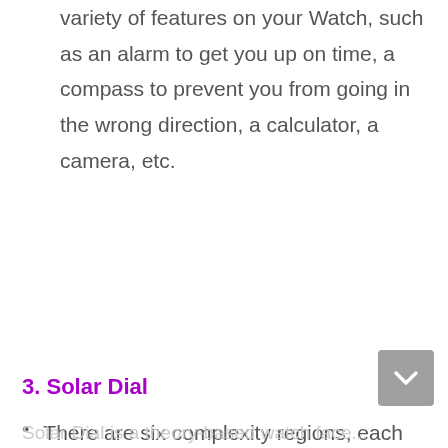variety of features on your Watch, such as an alarm to get you up on time, a compass to prevent you from going in the wrong direction, a calculator, a camera, etc.
There are six complexity regions, each with three symbols in the center, that you may convert into common contacts, allowing you to call immediately from the Watch.
3. Solar Dial
Solar Dial is a theory-based watch face...